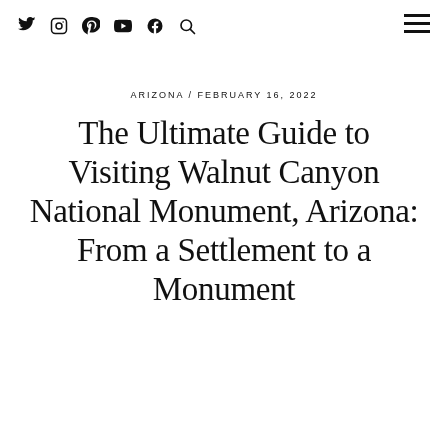Social icons: Twitter, Instagram, Pinterest, YouTube, Facebook, Search | Hamburger menu
ARIZONA / FEBRUARY 16, 2022
The Ultimate Guide to Visiting Walnut Canyon National Monument, Arizona: From a Settlement to a Monument